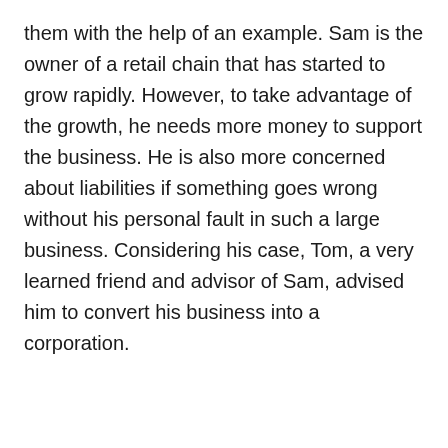them with the help of an example. Sam is the owner of a retail chain that has started to grow rapidly. However, to take advantage of the growth, he needs more money to support the business. He is also more concerned about liabilities if something goes wrong without his personal fault in such a large business. Considering his case, Tom, a very learned friend and advisor of Sam, advised him to convert his business into a corporation.